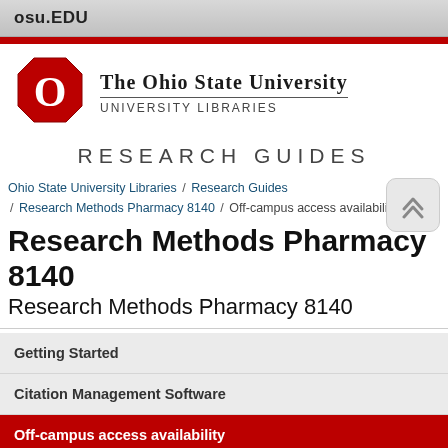OSU.EDU
[Figure (logo): The Ohio State University logo with red block O and text 'The Ohio State University University Libraries']
RESEARCH GUIDES
Ohio State University Libraries / Research Guides / Research Methods Pharmacy 8140 / Off-campus access availability
Research Methods Pharmacy 8140
Research Methods Pharmacy 8140
Getting Started
Citation Management Software
Off-campus access availability